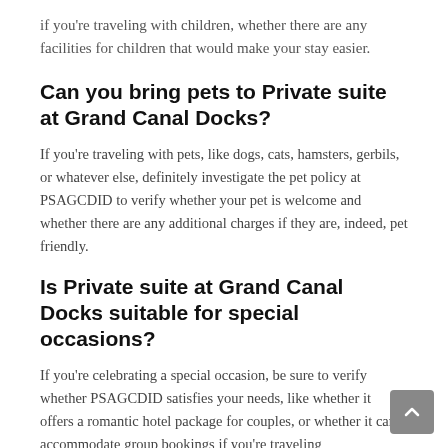if you're traveling with children, whether there are any facilities for children that would make your stay easier.
Can you bring pets to Private suite at Grand Canal Docks?
If you're traveling with pets, like dogs, cats, hamsters, gerbils, or whatever else, definitely investigate the pet policy at PSAGCDID to verify whether your pet is welcome and whether there are any additional charges if they are, indeed, pet friendly.
Is Private suite at Grand Canal Docks suitable for special occasions?
If you're celebrating a special occasion, be sure to verify whether PSAGCDID satisfies your needs, like whether it offers a romantic hotel package for couples, or whether it can accommodate group bookings if you're traveling